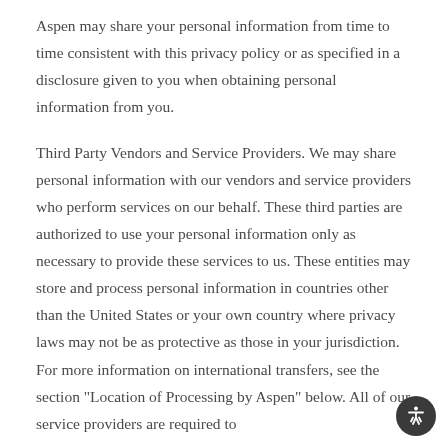Aspen may share your personal information from time to time consistent with this privacy policy or as specified in a disclosure given to you when obtaining personal information from you.
Third Party Vendors and Service Providers. We may share personal information with our vendors and service providers who perform services on our behalf. These third parties are authorized to use your personal information only as necessary to provide these services to us. These entities may store and process personal information in countries other than the United States or your own country where privacy laws may not be as protective as those in your jurisdiction. For more information on international transfers, see the section "Location of Processing by Aspen" below. All of our service providers are required to...